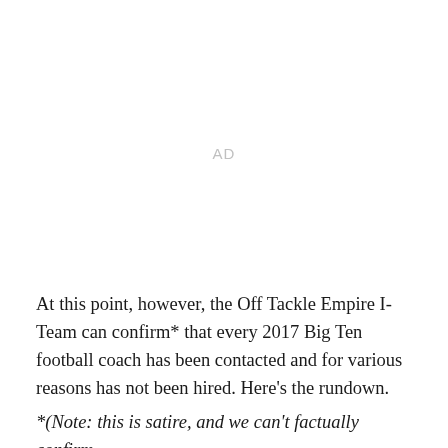[Figure (other): AD placeholder / advertisement space]
At this point, however, the Off Tackle Empire I-Team can confirm* that every 2017 Big Ten football coach has been contacted and for various reasons has not been hired. Here's the rundown.
*(Note: this is satire, and we can't factually confirm anything. Also we should be upfront, no one really asked the